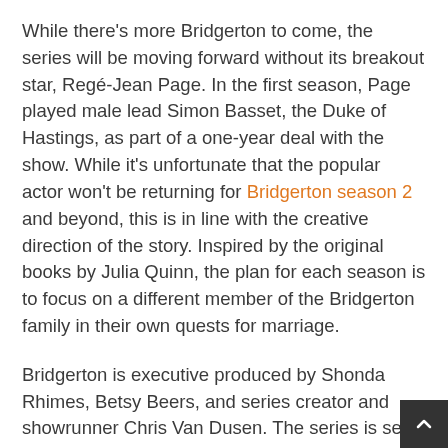While there's more Bridgerton to come, the series will be moving forward without its breakout star, Regé-Jean Page. In the first season, Page played male lead Simon Basset, the Duke of Hastings, as part of a one-year deal with the show. While it's unfortunate that the popular actor won't be returning for Bridgerton season 2 and beyond, this is in line with the creative direction of the story. Inspired by the original books by Julia Quinn, the plan for each season is to focus on a different member of the Bridgerton family in their own quests for marriage.
Bridgerton is executive produced by Shonda Rhimes, Betsy Beers, and series creator and showrunner Chris Van Dusen. The series is set in the world of Regency London high society and follows eight close-knit siblings who must navigate the upper 10 thousand's marriage market in search of romance, adventure, and love. Along with Page, the show's ensemble cast